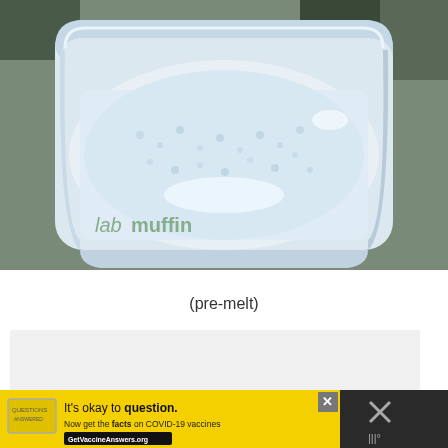[Figure (photo): A white rectangular dish/container holding a milky white liquid with small bubbles or granules visible on the surface. The dish sits on a gray-green surface. Text watermark 'labmuffin' in green appears in the lower left of the photo.]
(pre-melt)
[Figure (screenshot): Advertisement banner at the bottom. Yellow background with text: It's okay to question. Now get the facts on COVID-19 vaccines GetVaccineAnswers.org. Close button (X) visible. Right side has dark panel with X icon and temperature symbol.]